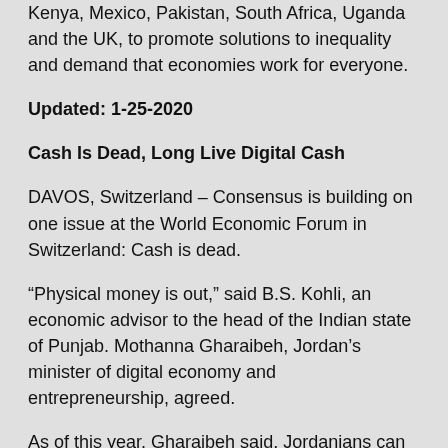Kenya, Mexico, Pakistan, South Africa, Uganda and the UK, to promote solutions to inequality and demand that economies work for everyone.
Updated: 1-25-2020
Cash Is Dead, Long Live Digital Cash
DAVOS, Switzerland – Consensus is building on one issue at the World Economic Forum in Switzerland: Cash is dead.
“Physical money is out,” said B.S. Kohli, an economic advisor to the head of the Indian state of Punjab. Mothanna Gharaibeh, Jordan’s minister of digital economy and entrepreneurship, agreed.
As of this year, Gharaibeh said, Jordanians can no longer pay for government services, from taxes to hospital bills, with cash. They must use electronic payment systems like bank transfers or mobile wallets.